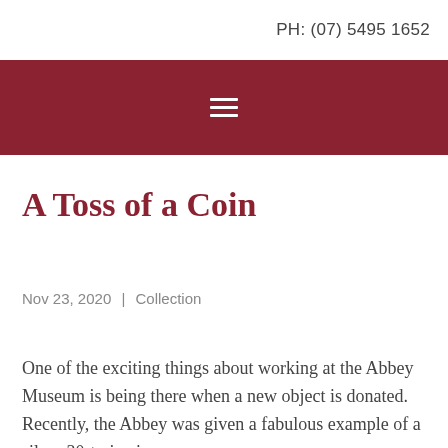PH: (07) 5495 1652
[Figure (other): Dark red navigation bar with hamburger menu icon (three horizontal white lines)]
A Toss of a Coin
Nov 23, 2020 | Collection
One of the exciting things about working at the Abbey Museum is being there when a new object is donated. Recently, the Abbey was given a fabulous example of a silver 30-tari coin